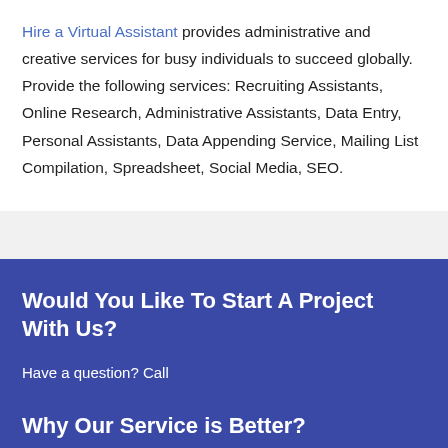Hire a Virtual Assistant provides administrative and creative services for busy individuals to succeed globally. Provide the following services: Recruiting Assistants, Online Research, Administrative Assistants, Data Entry, Personal Assistants, Data Appending Service, Mailing List Compilation, Spreadsheet, Social Media, SEO.
Would You Like To Start A Project With Us?
Have a question? Call
Why Our Service is Better?